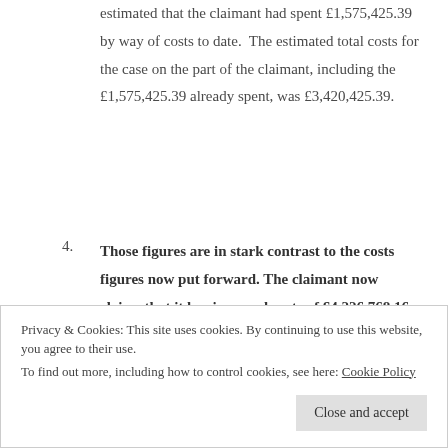estimated that the claimant had spent £1,575,425.39 by way of costs to date. The estimated total costs for the case on the part of the claimant, including the £1,575,425.39 already spent, was £3,420,425.39.
Those figures are in stark contrast to the costs figures now put forward. The claimant now claims that it has incurred costs of £4,226,768.16 and that its total estimated costs are £5,050,469, making a
Privacy & Cookies: This site uses cookies. By continuing to use this website, you agree to their use. To find out more, including how to control cookies, see here: Cookie Policy